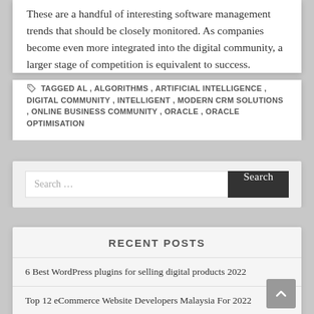These are a handful of interesting software management trends that should be closely monitored. As companies become even more integrated into the digital community, a larger stage of competition is equivalent to success.
TAGGED AL, ALGORITHMS, ARTIFICIAL INTELLIGENCE, DIGITAL COMMUNITY, INTELLIGENT, MODERN CRM SOLUTIONS, ONLINE BUSINESS COMMUNITY, ORACLE, ORACLE OPTIMISATION
Search ...
RECENT POSTS
6 Best WordPress plugins for selling digital products 2022
Top 12 eCommerce Website Developers Malaysia For 2022
Facebook Marketing Useful Tips